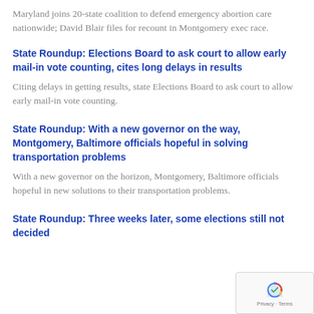Maryland joins 20-state coalition to defend emergency abortion care nationwide; David Blair files for recount in Montgomery exec race.
State Roundup: Elections Board to ask court to allow early mail-in vote counting, cites long delays in results
Citing delays in getting results, state Elections Board to ask court to allow early mail-in vote counting.
State Roundup: With a new governor on the way, Montgomery, Baltimore officials hopeful in solving transportation problems
With a new governor on the horizon, Montgomery, Baltimore officials hopeful in new solutions to their transportation problems.
State Roundup: Three weeks later, some elections still not decided